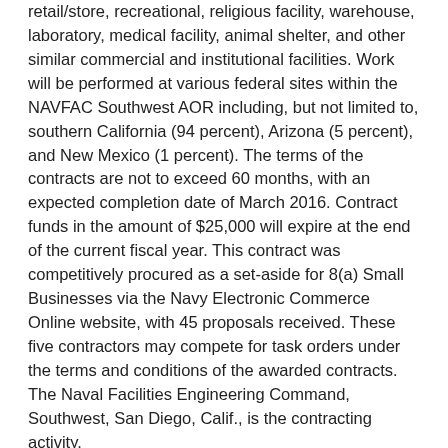retail/store, recreational, religious facility, warehouse, laboratory, medical facility, animal shelter, and other similar commercial and institutional facilities. Work will be performed at various federal sites within the NAVFAC Southwest AOR including, but not limited to, southern California (94 percent), Arizona (5 percent), and New Mexico (1 percent). The terms of the contracts are not to exceed 60 months, with an expected completion date of March 2016. Contract funds in the amount of $25,000 will expire at the end of the current fiscal year. This contract was competitively procured as a set-aside for 8(a) Small Businesses via the Navy Electronic Commerce Online website, with 45 proposals received. These five contractors may compete for task orders under the terms and conditions of the awarded contracts. The Naval Facilities Engineering Command, Southwest, San Diego, Calif., is the contracting activity.
Swiftships Shipbuilders, LLC, Morgan City, La., is being awarded a $42,181,000 modification to previously awarded contract (N00024-09-C-2256) for the detail design and construction of three 35-meter patrol boats, with an option for three additional 35-meter patrol boats and associated technical services for the Iraqi navy. This contract modification includes options which, if exercised, would bring the